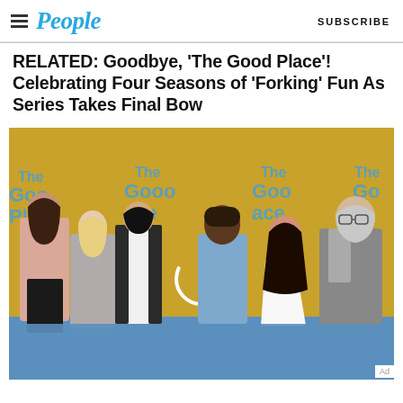People  SUBSCRIBE
RELATED: Goodbye, ‘The Good Place’! Celebrating Four Seasons of ‘Forking’ Fun As Series Takes Final Bow
[Figure (photo): Six cast members of The Good Place posing in front of a yellow step-and-repeat banner reading 'The Good Place'. From left: a woman in pink top and black pants, a woman in grey jumpsuit, a man in white shirt and black jacket, a man in denim shirt, a woman in white strapless dress, and an older man in grey suit.]